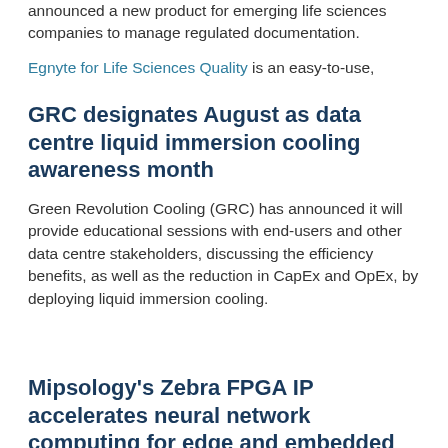announced a new product for emerging life sciences companies to manage regulated documentation.
Egnyte for Life Sciences Quality is an easy-to-use,
GRC designates August as data centre liquid immersion cooling awareness month
Green Revolution Cooling (GRC) has announced it will provide educational sessions with end-users and other data centre stakeholders, discussing the efficiency benefits, as well as the reduction in CapEx and OpEx, by deploying liquid immersion cooling.
Mipsology's Zebra FPGA IP accelerates neural network computing for edge and embedded AI applications
AI software provider Mipsology has announced the availability of Zebra FPGA IP, a solution that accelerates